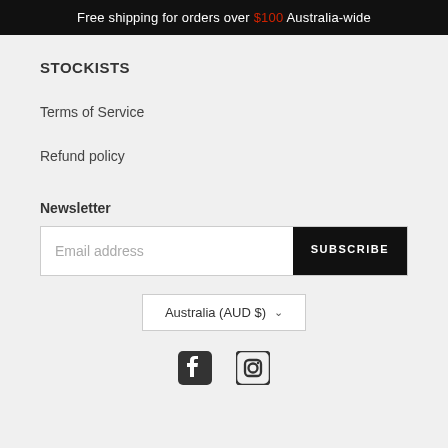Free shipping for orders over $100 Australia-wide
STOCKISTS
Terms of Service
Refund policy
Newsletter
Email address | SUBSCRIBE
Australia (AUD $)
[Figure (other): Facebook and Instagram social media icons]